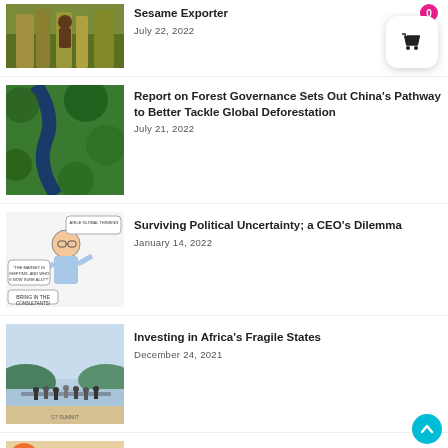[Figure (photo): Person harvesting sesame crops in field]
Sesame Exporter
July 22, 2022
[Figure (photo): Aerial view of green forest with river]
Report on Forest Governance Sets Out China’s Pathway to Better Tackle Global Deforestation
July 21, 2022
[Figure (illustration): Cartoon of CEO figure with consultants speech bubble]
Surviving Political Uncertainty; a CEO’s Dilemma
January 14, 2022
[Figure (photo): Group of world leaders standing on beach for summit photo]
Investing in Africa’s Fragile States
December 24, 2021
[Figure (photo): Panel discussion event in Somalia health sector]
Investing in Somalia’s Health Sector
December 10, 2021